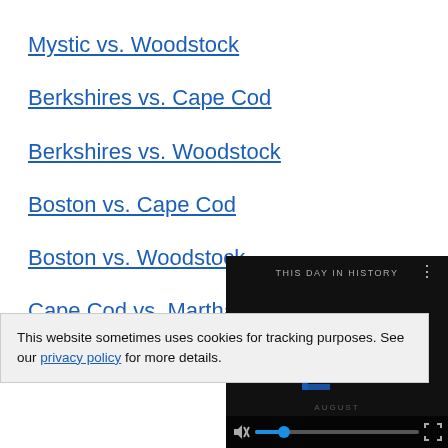Mystic vs. Woodstock
Berkshires vs. Cape Cod
Berkshires vs. Woodstock
Boston vs. Cape Cod
Boston vs. Woodstock
Cape Cod vs. Martha's Vineyard
Cape Cod vs. Na…
This website sometimes uses cookies for tracking purposes. See our privacy policy for more details.
[Figure (screenshot): Embedded video overlay with dark background showing 'THIS DAY IN HISTORY' label, play button icons, mute icon, progress bar with blue knob, and fullscreen icon. Bottom bar shows video controls.]